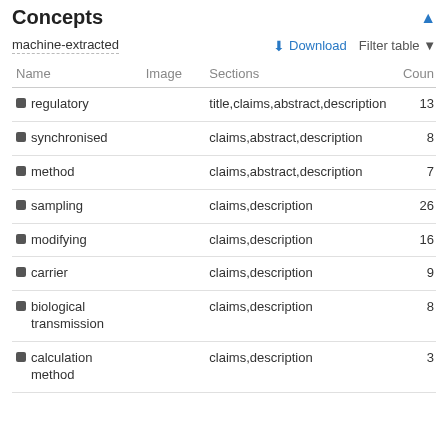Concepts
machine-extracted
| Name | Image | Sections | Count |
| --- | --- | --- | --- |
| regulatory |  | title,claims,abstract,description | 13 |
| synchronised |  | claims,abstract,description | 8 |
| method |  | claims,abstract,description | 7 |
| sampling |  | claims,description | 26 |
| modifying |  | claims,description | 16 |
| carrier |  | claims,description | 9 |
| biological transmission |  | claims,description | 8 |
| calculation method |  | claims,description | 3 |